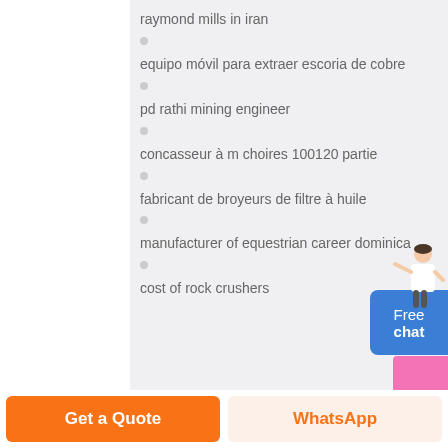raymond mills in iran
equipo móvil para extraer escoria de cobre
pd rathi mining engineer
concasseur à m choires 100120 partie
fabricant de broyeurs de filtre à huile
manufacturer of equestrian career dominica
cost of rock crushers
Free chat
Get a Quote
WhatsApp